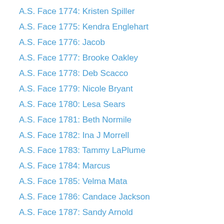A.S. Face 1774: Kristen Spiller
A.S. Face 1775: Kendra Englehart
A.S. Face 1776: Jacob
A.S. Face 1777: Brooke Oakley
A.S. Face 1778: Deb Scacco
A.S. Face 1779: Nicole Bryant
A.S. Face 1780: Lesa Sears
A.S. Face 1781: Beth Normile
A.S. Face 1782: Ina J Morrell
A.S. Face 1783: Tammy LaPlume
A.S. Face 1784: Marcus
A.S. Face 1785: Velma Mata
A.S. Face 1786: Candace Jackson
A.S. Face 1787: Sandy Arnold
A.S. Face 1788: Carolyn Crookham
A.S. Face 1789: Susan Carson Hill
A.S. Face 1790: Jeannie Russell
A.S. Face 1791: Gina Schuster
A.S. Face 1792: Marsha Hooten
A.S. Face 1793: Sandra Oliver